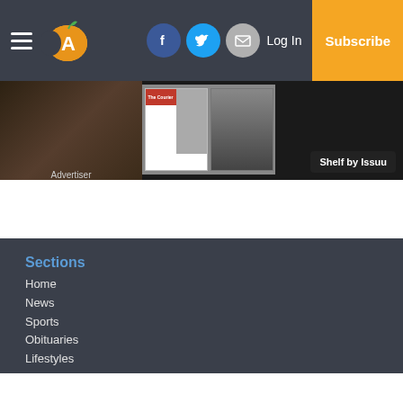Navigation bar with hamburger menu, Advertiser logo, Facebook, Twitter, Email social icons, Log In, Subscribe button
[Figure (screenshot): Shelf by Issuu banner showing newspaper thumbnails including The Advertiser publication covers in dark background]
Sections
Home
News
Sports
Obituaries
Lifestyles
Opinion
Small Business